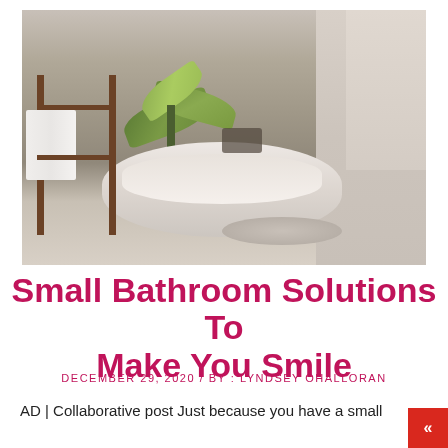[Figure (photo): A large freestanding oval bathtub in a minimalist bathroom with concrete/stone walls, a wooden towel ladder with white towels, a tropical palm plant, pebble stones on the floor, and bath accessories on the tub rim.]
Small Bathroom Solutions To Make You Smile
DECEMBER 29, 2020 / BY : LYNDSEY OHALLORAN
AD | Collaborative post Just because you have a small